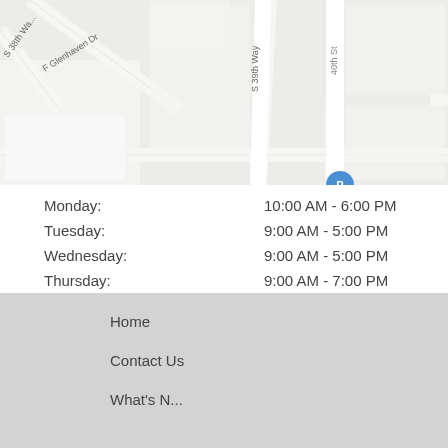[Figure (map): Street map showing area around S 38th Way, F Glenhaven Dr, S 39th Way, 40th St, E Glenhaven Dr, E Windsong Dr, E Windsor (partially visible), E Liberty Ln (partially visible), with a blue route marker and a location pin.]
| Day | Hours |
| --- | --- |
| Monday: | 10:00 AM - 6:00 PM |
| Tuesday: | 9:00 AM - 5:00 PM |
| Wednesday: | 9:00 AM - 5:00 PM |
| Thursday: | 9:00 AM - 7:00 PM |
| Friday: | 9:00 AM - 5:00 PM |
| Saturday: | 9:00 AM - 2:00 PM |
| Sunday: | Closed |
Home
Contact Us
What's N...